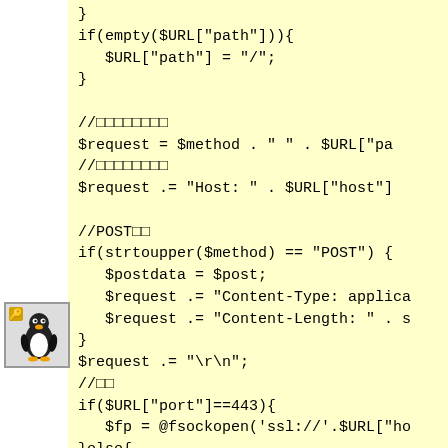[Figure (illustration): Tux penguin icon with a yellow key/badge, bottom-left corner]
}
if(empty($URL["path"])){
   $URL["path"] = "/";
}

//□□□□□□□□
$request = $method . " " . $URL["pa
//□□□□□□□□
$request .= "Host: " . $URL["host"]

//POST□□
if(strtoupper($method) == "POST") {
   $postdata = $post;
   $request .= "Content-Type: applica
   $request .= "Content-Length: " . s
}
$request .= "\r\n";
//□□
if($URL["port"]==443){
   $fp = @fsockopen('ssl://'.$URL["ho
}else{
   $fp = @fsockopen($URL["host"], $UR